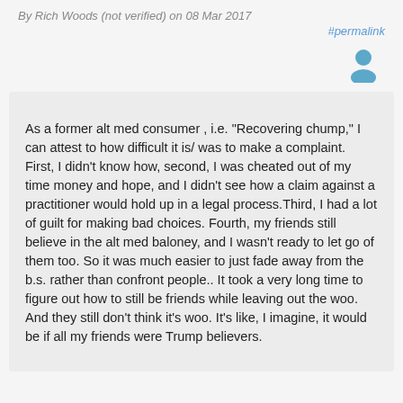By Rich Woods (not verified) on 08 Mar 2017
#permalink
[Figure (illustration): User avatar icon — silhouette of a person in teal/blue color]
As a former alt med consumer , i.e. "Recovering chump," I can attest to how difficult it is/ was to make a complaint. First, I didn't know how, second, I was cheated out of my time money and hope, and I didn't see how a claim against a practitioner would hold up in a legal process.Third, I had a lot of guilt for making bad choices. Fourth, my friends still believe in the alt med baloney, and I wasn't ready to let go of them too. So it was much easier to just fade away from the b.s. rather than confront people.. It took a very long time to figure out how to still be friends while leaving out the woo. And they still don't think it's woo. It's like, I imagine, it would be if all my friends were Trump believers.